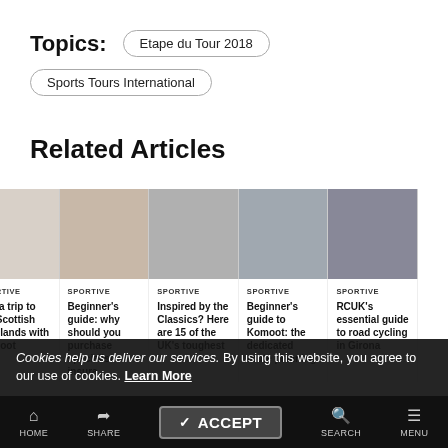Topics:
Etape du Tour 2018
Sports Tours International
Related Articles
SPORTIVE
Win a trip to the Scottish Highlands with Komoot
SPORTIVE
Beginner's guide: why should you purchase specialist insura...
SPORTIVE
Inspired by the Classics? Here are 15 of the UK's toughest
SPORTIVE
Beginner's guide to Komoot: the dedicated route planning
SPORTIVE
RCUK's essential guide to road cycling in Girona
Cookies help us deliver our services. By using this website, you agree to our use of cookies. Learn More
HOME  SHARE  Accept  SEARCH  MENU